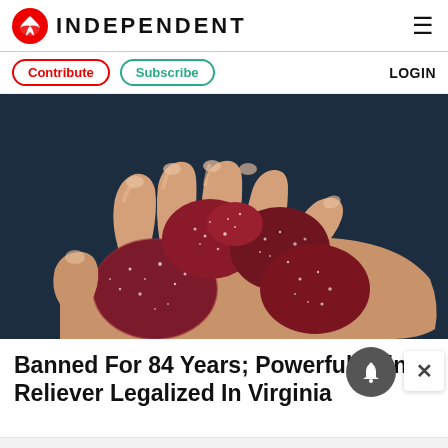INDEPENDENT
Contribute  Subscribe  LOGIN
[Figure (photo): A hand holding several dark red sugar-coated gummy candies against a dark blue background.]
Banned For 84 Years; Powerful Pain Reliever Legalized In Virginia